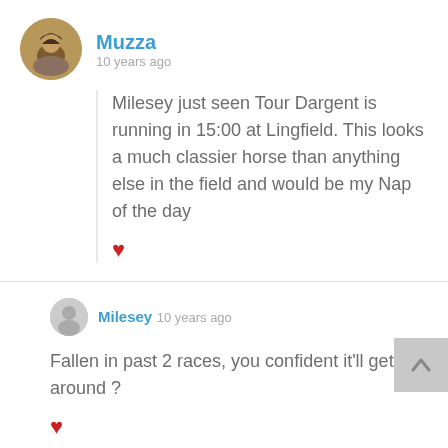[Figure (photo): Circular avatar photo of user Muzza showing a man with beard and turban]
Muzza
10 years ago
Milesey just seen Tour Dargent is running in 15:00 at Lingfield. This looks a much classier horse than anything else in the field and would be my Nap of the day
[Figure (illustration): Red heart like icon]
[Figure (illustration): Circular grey avatar placeholder for user Milesey]
Milesey 10 years ago
Fallen in past 2 races, you confident it'll get around ?
[Figure (illustration): Red heart like icon]
[Figure (illustration): Grey scroll-to-top button with upward chevron]